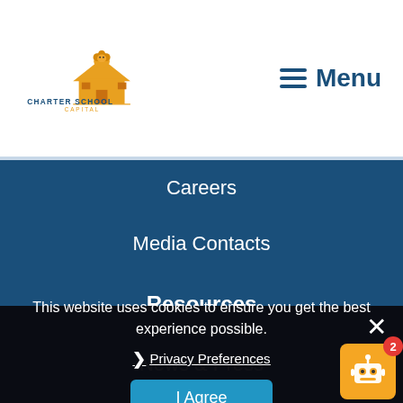[Figure (logo): Charter School Capital logo with orange lion/school building graphic and text below]
Menu
Careers
Media Contacts
Resources
News & Press
Resource Library
Events
This website uses cookies to ensure you get the best experience possible.
Privacy Preferences
I Agree